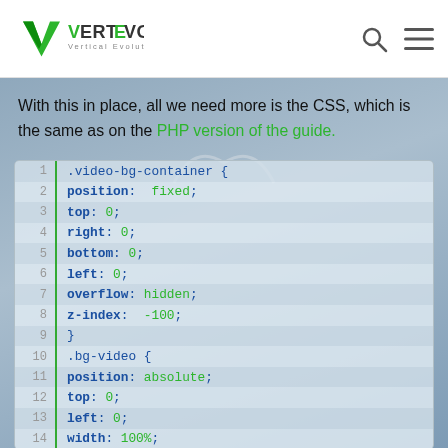VertEvo — Vertical Evolution
With this in place, all we need more is the CSS, which is the same as on the PHP version of the guide.
[Figure (screenshot): CSS code block showing .video-bg-container and .bg-video CSS rules with line numbers 1–14, featuring properties: position: fixed, top: 0, right: 0, bottom: 0, left: 0, overflow: hidden, z-index: -100, and .bg-video { position: absolute, top: 0, left: 0, width: 100%]